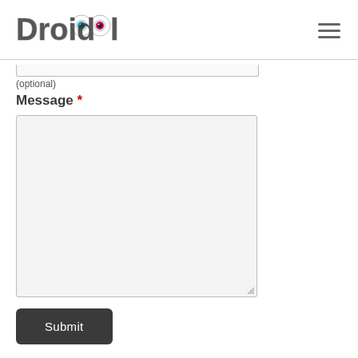[Figure (logo): DroidOwl logo — stylized text with owl eyes]
(optional)
Message *
[Figure (screenshot): Large textarea input field with resize handle]
[Figure (screenshot): Submit button, dark grey rounded rectangle with white text]